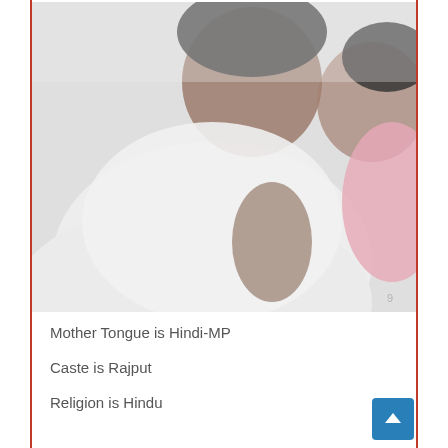[Figure (photo): A blurred photo of a person wearing white clothing, with another person partially visible wearing pink, selfie-style photo]
Mother Tongue is Hindi-MP
Caste is Rajput
Religion is Hindu